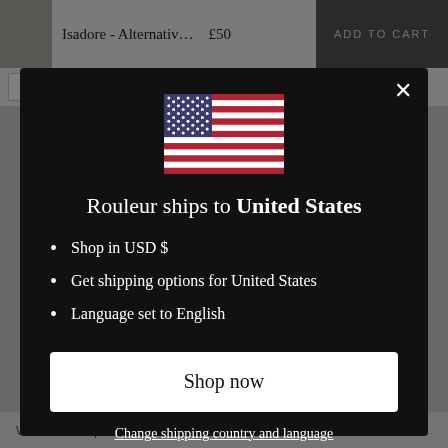[Figure (screenshot): E-commerce page background showing product listing for 'Isadore - Alternativ...' priced at £50 with ADD TO CART button]
[Figure (illustration): USA flag emoji/icon displayed in the modal dialog]
Rouleur ships to United States
Shop in USD $
Get shipping options for United States
Language set to English
Shop now
Change shipping country and language
Work with us | Jobs